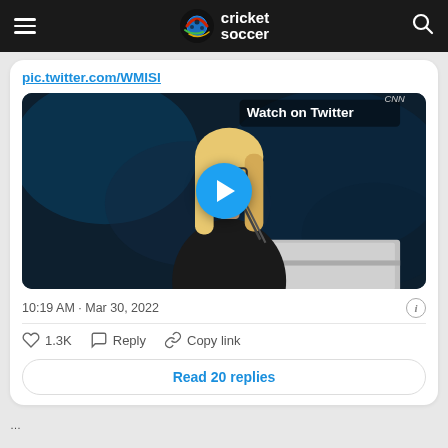cricket soccer
pic.twitter.com/...
[Figure (screenshot): Video thumbnail showing a blonde woman with glasses speaking at a podium on a dark blue stage background, with a blue play button overlay and 'Watch on Twitter' text in the upper right]
10:19 AM · Mar 30, 2022
♡ 1.3K   Reply   Copy link
Read 20 replies
...